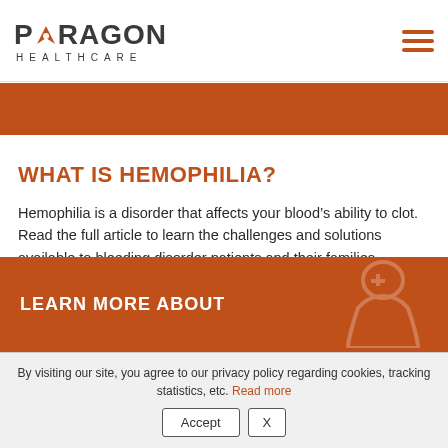PARAGON HEALTHCARE
WHAT IS HEMOPHILIA?
Hemophilia is a disorder that affects your blood’s ability to clot. Read the full article to learn the challenges and solutions available to bleeding disorder patients and their families.
Read More
LEARN MORE ABOUT
By visiting our site, you agree to our privacy policy regarding cookies, tracking statistics, etc. Read more
Accept  X